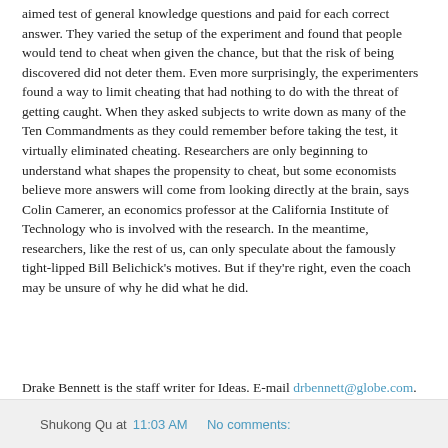aimed test of general knowledge questions and paid for each correct answer. They varied the setup of the experiment and found that people would tend to cheat when given the chance, but that the risk of being discovered did not deter them. Even more surprisingly, the experimenters found a way to limit cheating that had nothing to do with the threat of getting caught. When they asked subjects to write down as many of the Ten Commandments as they could remember before taking the test, it virtually eliminated cheating. Researchers are only beginning to understand what shapes the propensity to cheat, but some economists believe more answers will come from looking directly at the brain, says Colin Camerer, an economics professor at the California Institute of Technology who is involved with the research. In the meantime, researchers, like the rest of us, can only speculate about the famously tight-lipped Bill Belichick's motives. But if they're right, even the coach may be unsure of why he did what he did.
Drake Bennett is the staff writer for Ideas. E-mail drbennett@globe.com.
Shukong Qu at 11:03 AM   No comments: